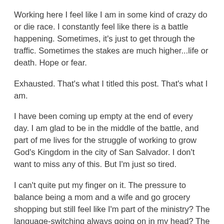Working here I feel like I am in some kind of crazy do or die race. I constantly feel like there is a battle happening. Sometimes, it's just to get through the traffic. Sometimes the stakes are much higher...life or death. Hope or fear.
Exhausted. That's what I titled this post. That's what I am.
I have been coming up empty at the end of every day. I am glad to be in the middle of the battle, and part of me lives for the struggle of working to grow God's Kingdom in the city of San Salvador. I don't want to miss any of this. But I'm just so tired.
I can't quite put my finger on it. The pressure to balance being a mom and a wife and go grocery shopping but still feel like I'm part of the ministry? The language-switching always going on in my head? The discouragement of watching people stumble and fall under the weight of poverty and addiction? The civil war veteran and the little girl begging at my car window at the stoplight? The desperation of wanting more for the beautiful